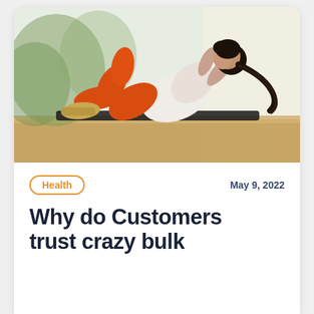[Figure (photo): A woman in orange leggings and a white top doing sit-ups on a black exercise mat on a wooden floor, with large windows in the background showing trees and natural light.]
Health
May 9, 2022
Why do Customers trust crazy bulk